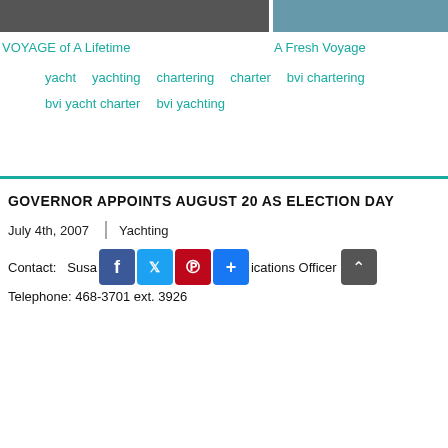[Figure (photo): Two side-by-side photos of boats/yachts at a dock or marina. Left photo is larger (approx 60% width), right photo is smaller (approx 39% width).]
VOYAGE of A Lifetime
A Fresh Voyage
yacht
yachting
chartering
charter
bvi chartering
bvi yacht charter
bvi yachting
GOVERNOR APPOINTS AUGUST 20 AS ELECTION DAY
July 4th, 2007  |  Yachting
Contact:   Susa [social icons] ications Officer
Telephone: 468-3701 ext. 3926